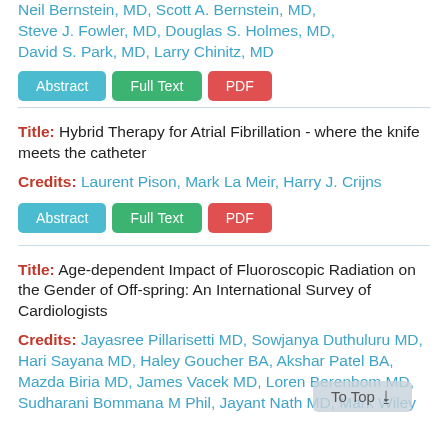Neil Bernstein, MD, Scott A. Bernstein, MD, Steve J. Fowler, MD, Douglas S. Holmes, MD, David S. Park, MD, Larry Chinitz, MD
Abstract | Full Text | PDF
Title: Hybrid Therapy for Atrial Fibrillation - where the knife meets the catheter
Credits: Laurent Pison, Mark La Meir, Harry J. Crijns
Abstract | Full Text | PDF
Title: Age-dependent Impact of Fluoroscopic Radiation on the Gender of Off-spring: An International Survey of Cardiologists
Credits: Jayasree Pillarisetti MD, Sowjanya Duthuluru MD, Hari Sayana MD, Haley Goucher BA, Akshar Patel BA, Mazda Biria MD, James Vacek MD, Loren Berenbom MD, Sudharani Bommana M Phil, Jayant Nath MD, Mark Wiley